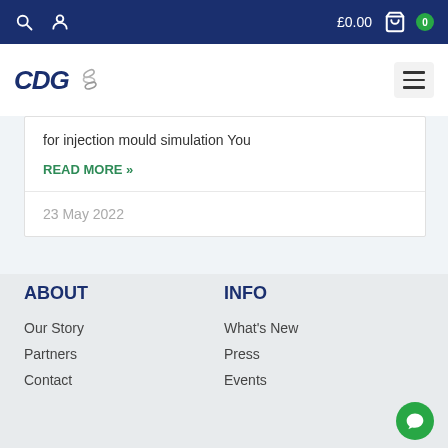£0.00  0
[Figure (logo): CDG logo with chain link graphic]
for injection mould simulation You
READ MORE »
23 May 2022
ABOUT
INFO
Our Story
Partners
Contact
What's New
Press
Events